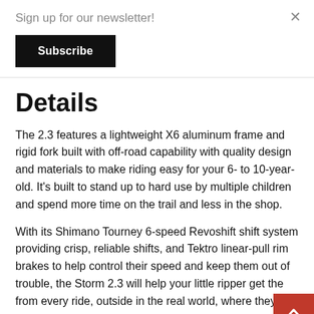Sign up for our newsletter!
Subscribe
Details
The 2.3 features a lightweight X6 aluminum frame and rigid fork built with off-road capability with quality design and materials to make riding easy for your 6- to 10-year-old. It's built to stand up to hard use by multiple children and spend more time on the trail and less in the shop.
With its Shimano Tourney 6-speed Revoshift shift system providing crisp, reliable shifts, and Tektro linear-pull rim brakes to help control their speed and keep them out of trouble, the Storm 2.3 will help your little ripper get the from every ride, outside in the real world, where they ca start the adventure of a lifetime on two wheels!